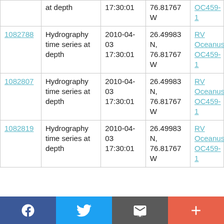|  | at depth | 17:30:01 | 76.81767 W | OC459-1 |
| 1082788 | Hydrography time series at depth | 2010-04-03 17:30:01 | 26.49983 N, 76.81767 W | RV Oceanus OC459-1 |
| 1082807 | Hydrography time series at depth | 2010-04-03 17:30:01 | 26.49983 N, 76.81767 W | RV Oceanus OC459-1 |
| 1082819 | Hydrography time series at depth | 2010-04-03 17:30:01 | 26.49983 N, 76.81767 W | RV Oceanus OC459-1 |